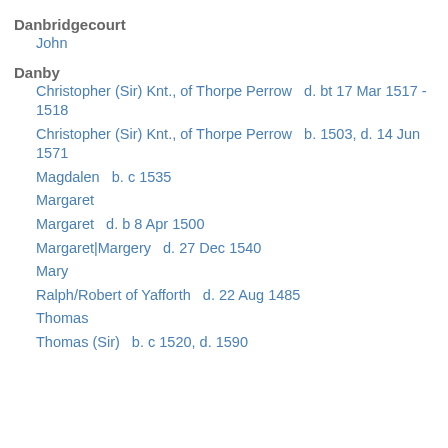Danbridgecourt
John
Danby
Christopher (Sir) Knt., of Thorpe Perrow   d. bt 17 Mar 1517 - 1518
Christopher (Sir) Knt., of Thorpe Perrow   b. 1503, d. 14 Jun 1571
Magdalen   b. c 1535
Margaret
Margaret   d. b 8 Apr 1500
Margaret|Margery   d. 27 Dec 1540
Mary
Ralph/Robert of Yafforth   d. 22 Aug 1485
Thomas
Thomas (Sir)   b. c 1520, d. 1590